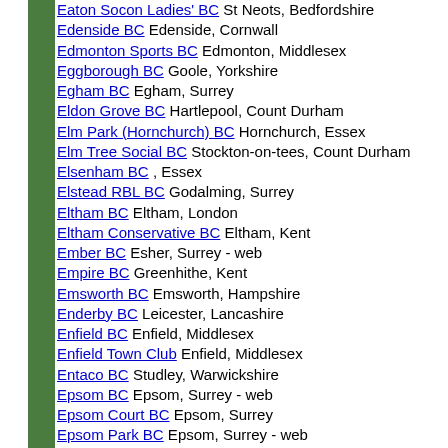Eaton Socon Ladies BC St Neots, Bedfordshire
Edenside BC Edenside, Cornwall
Edmonton Sports BC Edmonton, Middlesex
Eggborough BC Goole, Yorkshire
Egham BC Egham, Surrey
Eldon Grove BC Hartlepool, Count Durham
Elm Park (Hornchurch) BC Hornchurch, Essex
Elm Tree Social BC Stockton-on-tees, Count Durham
Elsenham BC , Essex
Elstead RBL BC Godalming, Surrey
Eltham BC Eltham, London
Eltham Conservative BC Eltham, Kent
Ember BC Esher, Surrey - web
Empire BC Greenhithe, Kent
Emsworth BC Emsworth, Hampshire
Enderby BC Leicester, Lancashire
Enfield BC Enfield, Middlesex
Enfield Town Club Enfield, Middlesex
Entaco BC Studley, Warwickshire
Epsom BC Epsom, Surrey - web
Epsom Court BC Epsom, Surrey
Epsom Park BC Epsom, Surrey - web
Erdington Court BC Birmingham, West Midlands - web
Erith & Kent Scottish BC Crayford, Kent
Esher BC Esher, Surrey
Essex County BC Westcliff-on-sea, Essex - web